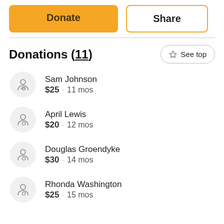Donate
Share
Donations (11)
Sam Johnson $25 · 11 mos
April Lewis $20 · 12 mos
Douglas Groendyke $30 · 14 mos
Rhonda Washington $25 · 15 mos